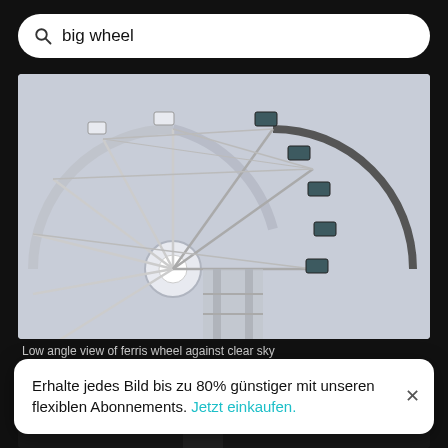big wheel
[Figure (photo): Low angle view of a large ferris wheel with gondolas against a light grey/clear sky. White metal spokes and structure visible, photographed from below.]
Low angle view of ferris wheel against clear sky
[Figure (photo): Dark nighttime photo showing a tall building silhouette against a dark sky.]
Erhalte jedes Bild bis zu 80% günstiger mit unseren flexiblen Abonnements. Jetzt einkaufen.